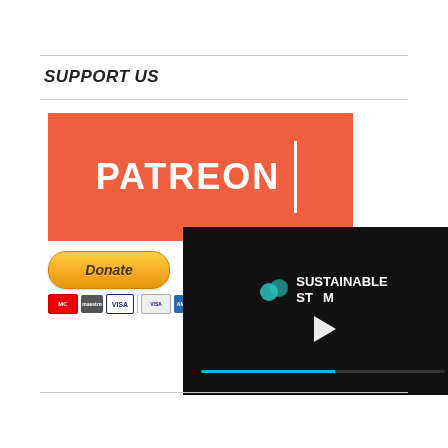SUPPORT US
[Figure (logo): Patreon logo on orange/salmon background with white text PATREON and a vertical white bar]
[Figure (logo): PayPal Donate button with payment card icons below (Mastercard, Maestro, Visa, Visa Electron, American Express, Direct Debit)]
[Figure (logo): Ko-fi partial button (teal circle with heart and cup icon)]
[Figure (screenshot): Video player overlay showing Sustainable Steam logo on dark background with play button and progress bar]
[Figure (other): Close (X) button circle overlay]